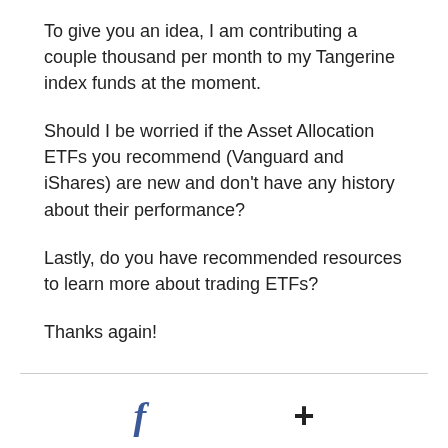To give you an idea, I am contributing a couple thousand per month to my Tangerine index funds at the moment.
Should I be worried if the Asset Allocation ETFs you recommend (Vanguard and iShares) are new and don't have any history about their performance?
Lastly, do you have recommended resources to learn more about trading ETFs?
Thanks again!
[Figure (other): Social sharing icons: Facebook (f) and a plus (+) symbol for sharing]